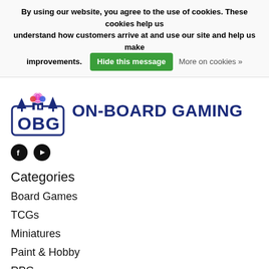By using our website, you agree to the use of cookies. These cookies help us understand how customers arrive at and use our site and help us make improvements. Hide this message  More on cookies »
[Figure (logo): OBG On-Board Gaming logo with tree silhouettes and colourful dice above stylised OBG letters in a shield shape]
[Figure (other): Facebook and YouTube social media icons (black circles)]
Categories
Board Games
TCGs
Miniatures
Paint & Hobby
RPG
Accessories
M...